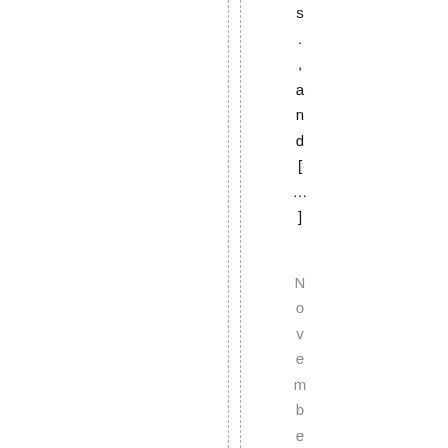s.,and[…] November 18th, 2010
[Figure (other): Two vertical dashed lines running the full height of the page, positioned near the center-left area]